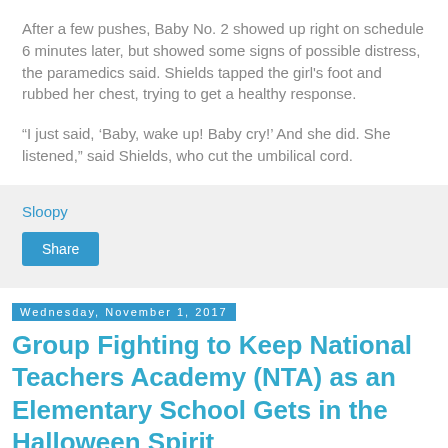After a few pushes, Baby No. 2 showed up right on schedule 6 minutes later, but showed some signs of possible distress, the paramedics said. Shields tapped the girl's foot and rubbed her chest, trying to get a healthy response.
“I just said, ‘Baby, wake up! Baby cry!’ And she did. She listened,” said Shields, who cut the umbilical cord.
Sloopy
Share
Wednesday, November 1, 2017
Group Fighting to Keep National Teachers Academy (NTA) as an Elementary School Gets in the Halloween Spirit